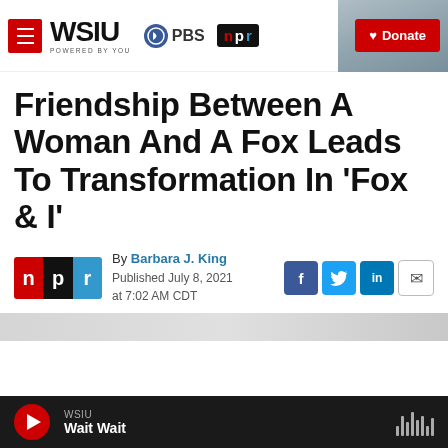WSIU POWERED BY YOU — PBS NPR — Donate
Friendship Between A Woman And A Fox Leads To Transformation In 'Fox & I'
By Barbara J. King
Published July 8, 2021 at 7:02 AM CDT
[Figure (screenshot): Bottom audio player bar showing WSIU logo, play button, and 'Wait Wait' program title]
WSIU — Wait Wait